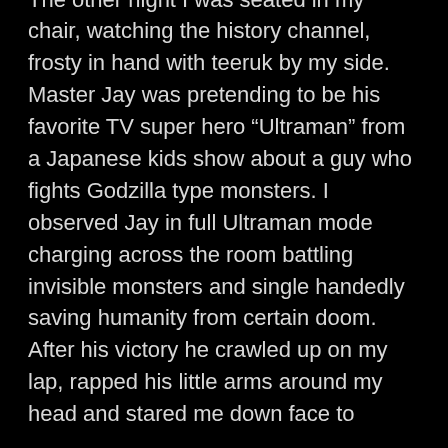The other night I was seated in my chair, watching the history channel, frosty in hand with teeruk by my side. Master Jay was pretending to be his favorite TV super hero “Ultraman” from a Japanese kids show about a guy who fights Godzilla type monsters. I observed Jay in full Ultraman mode charging across the room battling invisible monsters and single handedly saving humanity from certain doom. After his victory he crawled up on my lap, rapped his little arms around my head and stared me down face to